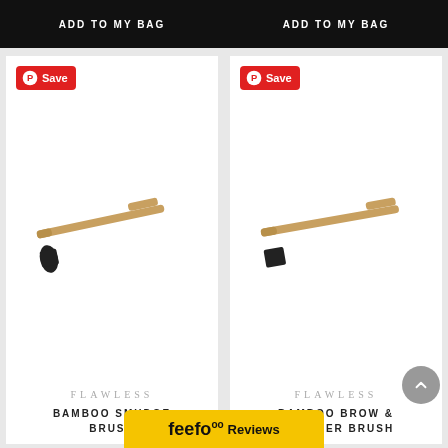ADD TO MY BAG
ADD TO MY BAG
[Figure (photo): Bamboo smudge brush with black bristle tip on white background]
FLAWLESS
BAMBOO SMUDGE BRUSH
[Figure (photo): Bamboo brow and eyeliner brush with flat black bristle tip on white background]
FLAWLESS
BAMBOO BROW & EYELINER BRUSH
feefo Reviews